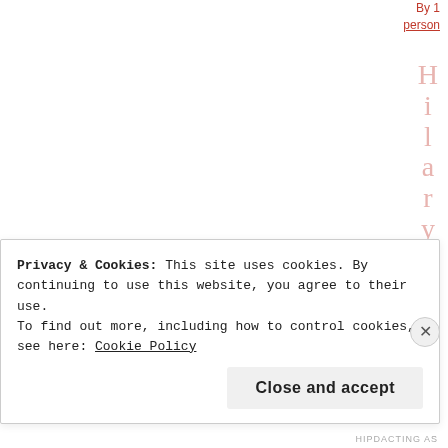By 1 person
HilaryTan
JUNE 9
Privacy & Cookies: This site uses cookies. By continuing to use this website, you agree to their use.
To find out more, including how to control cookies, see here: Cookie Policy
Close and accept
HIPDACTING AS